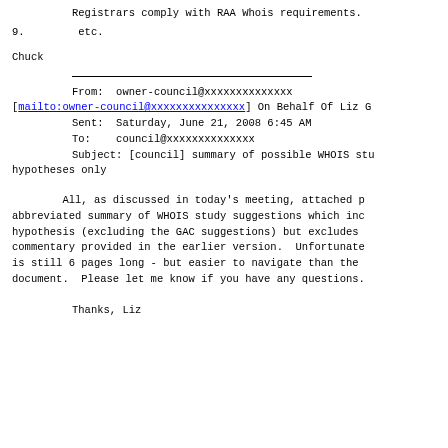Registrars comply with RAA Whois requirements.
9.
        etc.
Chuck
From: owner-council@xxxxxxxxxxxxxx [mailto:owner-council@xxxxxxxxxxxxxxx] On Behalf Of Liz G
        Sent: Saturday, June 21, 2008 6:45 AM
        To: council@xxxxxxxxxxxxxx
        Subject: [council] summary of possible WHOIS stu hypotheses only
All, as discussed in today's meeting, attached p abbreviated summary of WHOIS study suggestions which inc hypothesis (excluding the GAC suggestions) but excludes commentary provided in the earlier version.  Unfortunate is still 6 pages long - but easier to navigate than the document.  Please let me know if you have any questions.
Thanks, Liz